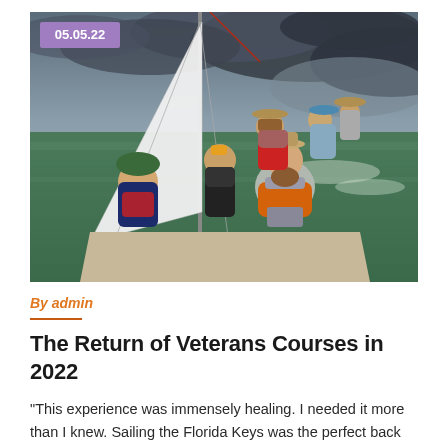[Figure (photo): Group of veterans sailing on a boat in the Florida Keys, wearing life jackets and hats, on green water under a cloudy sky. A white sail is visible. Date badge '05.05.22' overlaid in purple at top left.]
By admin
The Return of Veterans Courses in 2022
“This experience was immensely healing. I needed it more than I knew. Sailing the Florida Keys was the perfect back